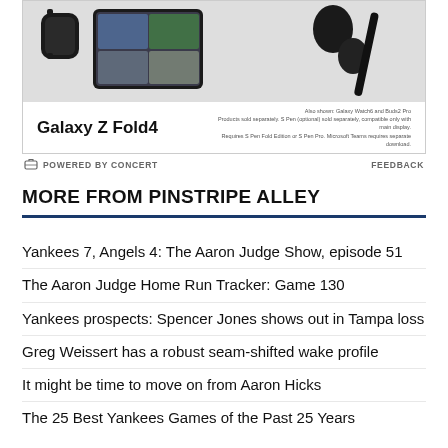[Figure (photo): Samsung Galaxy Z Fold4 advertisement showing the foldable phone open with a video call on screen, alongside a Galaxy Watch6 smartwatch, Buds2 Pro earbuds, and an S Pen stylus. Gray background product shot.]
Galaxy Z Fold4
Also shown: Galaxy Watch6 and Buds2 Pro
Products sold separately. S Pen (optional) sold separately, compatible only with main display. Requires S Pen Fold Edition or S Pen Pro. Microsoft Teams requires separate download.
POWERED BY CONCERT
FEEDBACK
MORE FROM PINSTRIPE ALLEY
Yankees 7, Angels 4: The Aaron Judge Show, episode 51
The Aaron Judge Home Run Tracker: Game 130
Yankees prospects: Spencer Jones shows out in Tampa loss
Greg Weissert has a robust seam-shifted wake profile
It might be time to move on from Aaron Hicks
The 25 Best Yankees Games of the Past 25 Years